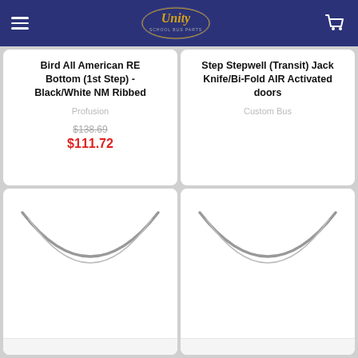Unity School Bus Parts — navigation header with logo and cart
Bird All American RE Bottom (1st Step) - Black/White NM Ribbed
Profusion
$138.69
$111.72
Step Stepwell (Transit) Jack Knife/Bi-Fold AIR Activated doors
Custom Bus
[Figure (photo): Product image showing a curved rubber step strip — bottom view arc shape]
[Figure (photo): Product image showing a curved rubber step strip — bottom view arc shape, second item]